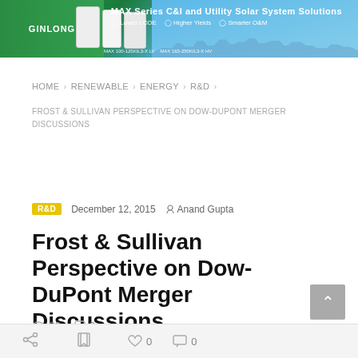[Figure (photo): Banner advertisement for MAX Series C&I and Utility Solar System Solutions featuring solar inverters and city skyline. Text: MAX Series C&I and Utility Solar System Solutions. Lower LCOE, Higher Yields, Smarter O&M. MAX 100-125KIL3-X LV, MAX 165-250KIL3-X HV.]
HOME > RENEWABLE > ENERGY > R&D >
FROST & SULLIVAN PERSPECTIVE ON DOW-DUPONT MERGER DISCUSSIONS
R&D   December 12, 2015   Anand Gupta
Frost & Sullivan Perspective on Dow-DuPont Merger Discussions
29   0